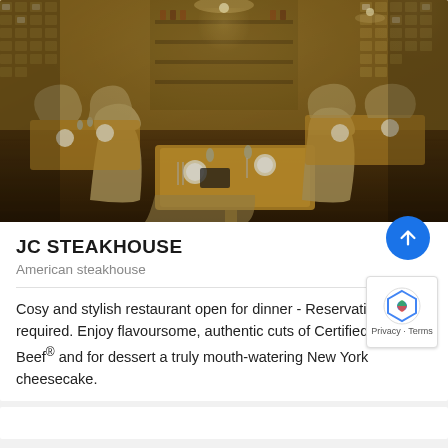[Figure (photo): Interior of JC Steakhouse restaurant showing dining tables with place settings, upholstered chairs, warm amber lighting, and decorative wall panels with geometric patterns]
JC STEAKHOUSE
American steakhouse
Cosy and stylish restaurant open for dinner - Reservation required. Enjoy flavoursome, authentic cuts of Certified Angus Beef® and for dessert a truly mouth-watering New York cheesecake.